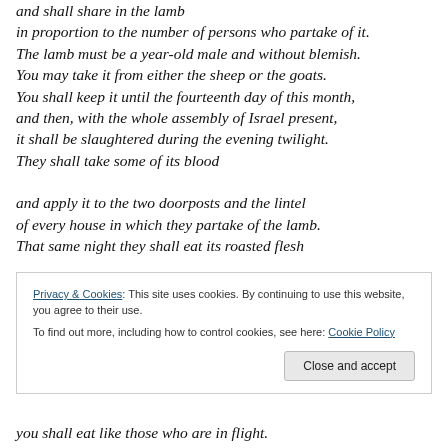and shall share in the lamb in proportion to the number of persons who partake of it. The lamb must be a year-old male and without blemish. You may take it from either the sheep or the goats. You shall keep it until the fourteenth day of this month, and then, with the whole assembly of Israel present, it shall be slaughtered during the evening twilight. They shall take some of its blood and apply it to the two doorposts and the lintel of every house in which they partake of the lamb. That same night they shall eat its roasted flesh
Privacy & Cookies: This site uses cookies. By continuing to use this website, you agree to their use.
To find out more, including how to control cookies, see here: Cookie Policy
you shall eat like those who are in flight.